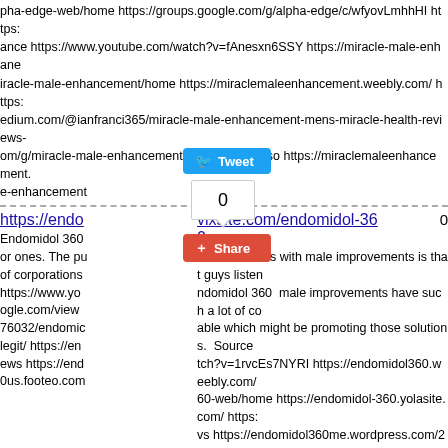pha-edge-web/home https://groups.google.com/g/alpha-edge/c/wfyovLmhhHI https://ance https://www.youtube.com/watch?v=fAnesxn6SSY https://miracle-male-enhancement/home https://miraclemaleenhancement.weebly.com/ https://edium.com/@ianfranci365/miracle-male-enhancement-mens-miracle-health-reviews-om/g/miracle-male-enhancement/c/EKXUYzkRdso https://miraclemaleenhancement.e-enhancement
https://endo... vixsite.com/endomidol-360   0
Endomidol 360 various issues with male improvements is that guys listen or ones. The pu ndomidol 360 male improvements have such a lot of co of corporations able which might be promoting those solutions. Source https://www.yo tch?v=1rvcEs7NYRI https://endomidol360.weebly.com/ ogle.com/view 60-web/home https://endomidol-360.yolasite.com/ https: 76032/endomic vs https://endomidol360me.wordpress.com/2021/11/08/e legit/ https://en e.wordpress.com/ https://endomidol-360.storychief.io/ ht ews https://end .footeo.com/news/2021/11/08/endomidol-360-male-enh 0us.footeo.com u.com/public/ac64aa54 https://www.marylandgeroassn.o m/posts/list/0/165592.page#204281 https://500px.com/photo/1039749473/httpsendo 60/ http://bcmoney-mobiletv.com/endomidol360 https://www.digitaldoughnut.com/co m/threads/https-endomidol360-wixsite-com-endomidol-360.17015/ https://community ite-com-endomidol-360 http://staff.yawatim.com/openclass/part-time/https-endomidol talk.com/threads/https-endomidol360-wixsite-com-endomidol-360.98548/ https://ww com-endomidol-360.12892/ http://forum.ppr.pl/viewtopic.php?p=1837907#1837907 h 0-wixsite-com-endomidol-360.95772/ https://www.opencockpits.com/foro/read.php?2 perpage.in/read-blog/32631_endomidol-360.html https://sync-sound.com/yclas/part-t 0.html https://www.wilcoxarcade.com/forum-1/arcade-past/endomidol-360 https://end er.com/forum/share-your-cheating-story/endomidol-360 https://mail.ketopialife.com/b ke https://p52clicks.wixsite.com/home/forum/general-discussion/endomidol-360 https